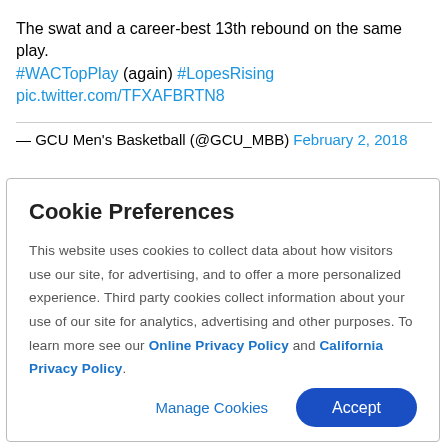The swat and a career-best 13th rebound on the same play. #WACTopPlay (again) #LopesRising pic.twitter.com/TFXAFBRTN8
— GCU Men's Basketball (@GCU_MBB) February 2, 2018
Cookie Preferences
This website uses cookies to collect data about how visitors use our site, for advertising, and to offer a more personalized experience. Third party cookies collect information about your use of our site for analytics, advertising and other purposes. To learn more see our Online Privacy Policy and California Privacy Policy.
Manage Cookies
Accept